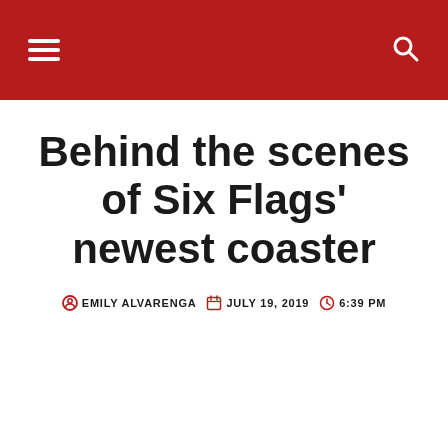Navigation header with hamburger menu and search icon
Behind the scenes of Six Flags' newest coaster
EMILY ALVARENGA  JULY 19, 2019  6:39 PM